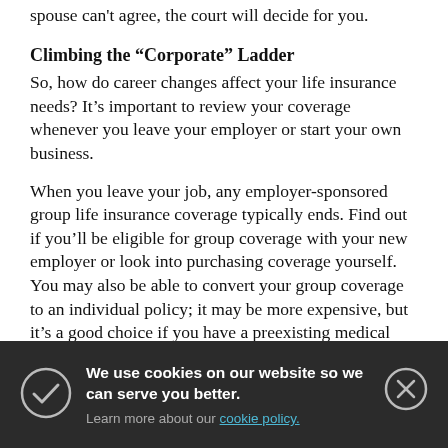spouse can't agree, the court will decide for you.
Climbing the “Corporate” Ladder
So, how do career changes affect your life insurance needs? It’s important to review your coverage whenever you leave your employer or start your own business.
When you leave your job, any employer-sponsored group life insurance coverage typically ends. Find out if you’ll be eligible for group coverage with your new employer or look into purchasing coverage yourself. You may also be able to convert your group coverage to an individual policy; it may be more expensive, but it’s a good choice if you have a preexisting medical condition that may prevent you f—
Y— p— y— a—
We use cookies on our website so we can serve you better. Learn more about our cookie policy.